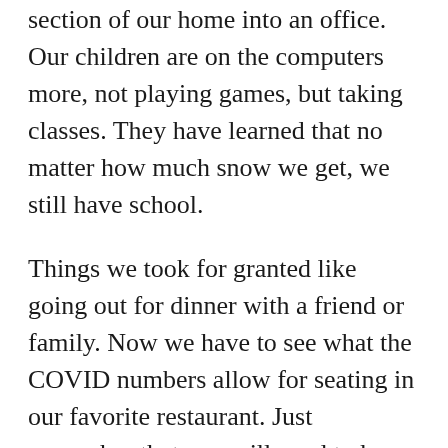section of our home into an office. Our children are on the computers more, not playing games, but taking classes. They have learned that no matter how much snow we get, we still have school.
Things we took for granted like going out for dinner with a friend or family. Now we have to see what the COVID numbers allow for seating in our favorite restaurant. Just remember that you will need to keep your mask on until you have a drink in front of you. And put your mask on before you head to the restroom.
The one side of our “New Norm” has made people become more aware of themselves and